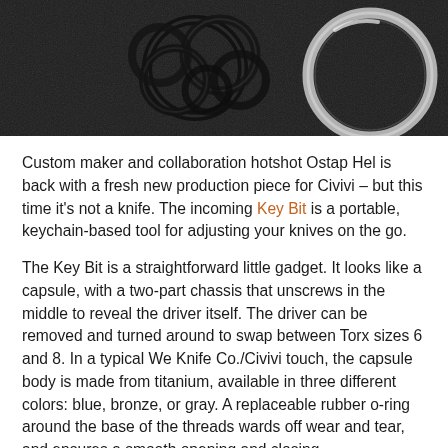[Figure (photo): Dark background with black metal split rings/key rings on the left and a silver/chrome ring on the right, photographed on a dark textured surface.]
Custom maker and collaboration hotshot Ostap Hel is back with a fresh new production piece for Civivi – but this time it's not a knife. The incoming Key Bit is a portable, keychain-based tool for adjusting your knives on the go.
The Key Bit is a straightforward little gadget. It looks like a capsule, with a two-part chassis that unscrews in the middle to reveal the driver itself. The driver can be removed and turned around to swap between Torx sizes 6 and 8. In a typical We Knife Co./Civivi touch, the capsule body is made from titanium, available in three different colors: blue, bronze, or gray. A replaceable rubber o-ring around the base of the threads wards off wear and tear, and ensures a smooth opening and closing.
If you're new to the knife world, please take our word for it: it's a characteristically fine before you to time to discuss and b…